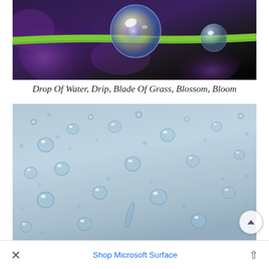[Figure (photo): Macro photograph of water droplets on a green grass stem, with blurred purple flowers in background and black background. Two large spherical water drops are visible reflecting the flowers.]
Drop Of Water, Drip, Blade Of Grass, Blossom, Bloom
[Figure (photo): Macro photograph of many small water droplets scattered across a glass surface, with a light blue-grey background.]
× Shop Microsoft Surface ^